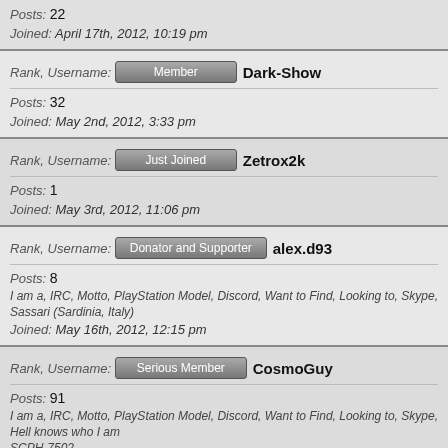Posts: 22
Joined: April 17th, 2012, 10:19 pm
Rank, Username: Member  Dark-Show
Posts: 32
Joined: May 2nd, 2012, 3:33 pm
Rank, Username: Just Joined  Zetrox2k
Posts: 1
Joined: May 3rd, 2012, 11:06 pm
Rank, Username: Donator and Supporter  alex.d93
Posts: 8
I am a, IRC, Motto, PlayStation Model, Discord, Want to Find, Looking to, Skype, Steam, W Sassari (Sardinia, Italy)
Joined: May 16th, 2012, 12:15 pm
Rank, Username: Serious Member  CosmoGuy
Posts: 91
I am a, IRC, Motto, PlayStation Model, Discord, Want to Find, Looking to, Skype, Steam, W Hell knows who I am SCPH-7502